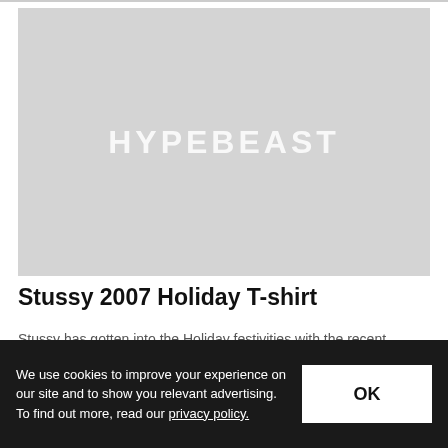[Figure (photo): Large grey placeholder image with HYPEBEAST watermark text in white]
Stussy 2007 Holiday T-shirt
Stussy has gotten into the Holiday festivities with the recent
We use cookies to improve your experience on our site and to show you relevant advertising. To find out more, read our privacy policy.